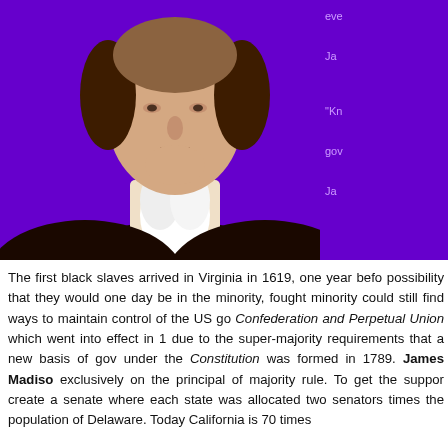[Figure (photo): Portrait painting of James Madison against a purple background, showing him from the chest up wearing a dark coat and white cravat. To the right of the portrait on the purple background are partial lines of text in light purple color reading fragments like 'eve', 'Ja', '"Kn', 'gov', 'Ja'.]
The first black slaves arrived in Virginia in 1619, one year befo... possibility that they would one day be in the minority, fought ... minority could still find ways to maintain control of the US go... Confederation and Perpetual Union which went into effect in 1... due to the super-majority requirements that a new basis of gov... under the Constitution was formed in 1789. James Madiso... exclusively on the principal of majority rule. To get the suppor... create a senate where each state was allocated two senators ... times the population of Delaware. Today California is 70 times...